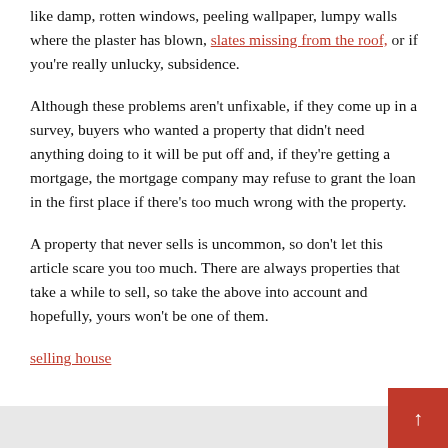like damp, rotten windows, peeling wallpaper, lumpy walls where the plaster has blown, slates missing from the roof, or if you're really unlucky, subsidence.
Although these problems aren't unfixable, if they come up in a survey, buyers who wanted a property that didn't need anything doing to it will be put off and, if they're getting a mortgage, the mortgage company may refuse to grant the loan in the first place if there's too much wrong with the property.
A property that never sells is uncommon, so don't let this article scare you too much. There are always properties that take a while to sell, so take the above into account and hopefully, yours won't be one of them.
selling house